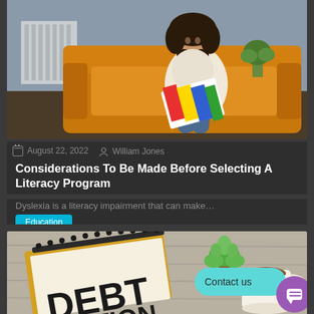[Figure (photo): A young girl with curly hair sitting on an orange/mustard colored sofa, reading or looking at a colorful book/magazine]
August 22, 2022   William Jones
Considerations To Be Made Before Selecting A Literacy Program
Dyslexia is a literacy impairment that can make…
Education
[Figure (photo): A notebook with 'DEBT' and partial text visible, placed on a wooden surface with a succulent plant and coffee cup. A 'Contact us' chat bubble and purple chat button overlay the image.]